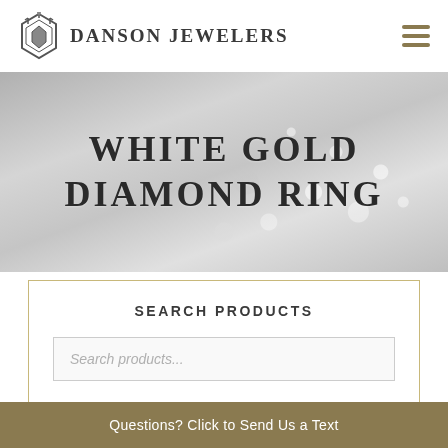DANSON JEWELERS
WHITE GOLD DIAMOND RING
SEARCH PRODUCTS
Search products...
Questions? Click to Send Us a Text